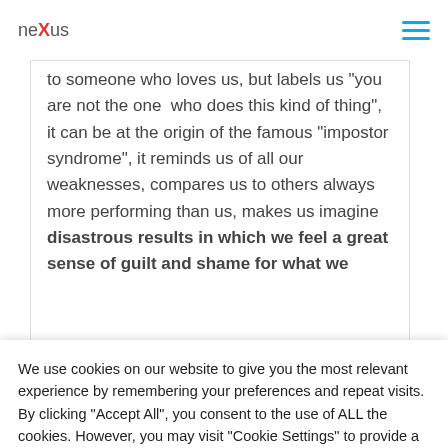nexus
to someone who loves us, but labels us "you are not the one who does this kind of thing", it can be at the origin of the famous "impostor syndrome", it reminds us of all our weaknesses, compares us to others always more performing than us, makes us imagine disastrous results in which we feel a great sense of guilt and shame for what we
We use cookies on our website to give you the most relevant experience by remembering your preferences and repeat visits. By clicking "Accept All", you consent to the use of ALL the cookies. However, you may visit "Cookie Settings" to provide a controlled consent.